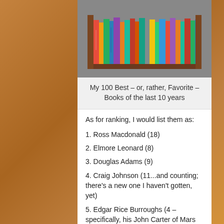[Figure (photo): A photograph of a bookshelf filled with colorful books of various sizes arranged upright.]
My 100 Best – or, rather, Favorite – Books of the last 10 years
As for ranking, I would list them as:
1. Ross Macdonald (18)
2. Elmore Leonard (8)
3. Douglas Adams (9)
4. Craig Johnson (11...and counting; there's a new one I haven't gotten, yet)
5. Edgar Rice Burroughs (4 – specifically, his John Carter of Mars books)
...with the rest of them falling into an ever-shifting heap, where, on any given day, Barker might